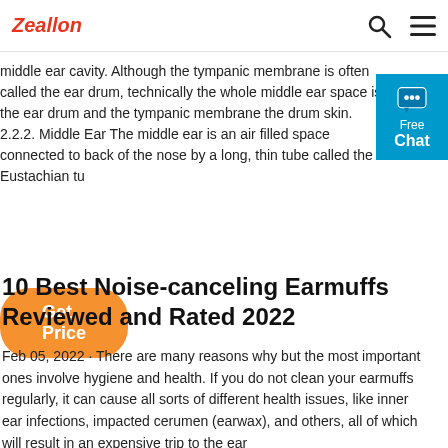Zeallon
middle ear cavity. Although the tympanic membrane is often called the ear drum, technically the whole middle ear space is the ear drum and the tympanic membrane the drum skin. 2.2.2. Middle Ear The middle ear is an air filled space connected to back of the nose by a long, thin tube called the Eustachian tu
[Figure (other): Blue chat widget with speech bubble icon, showing 'Free Chat' text]
Get Price
10 Best Noise-canceling Earmuffs Reviewed and Rated 2022
Feb 05, 2022 · There are many reasons why but the most important ones involve hygiene and health. If you do not clean your earmuffs regularly, it can cause all sorts of different health issues, like inner ear infections, impacted cerumen (earwax), and others, all of which will result in an expensive trip to the ear